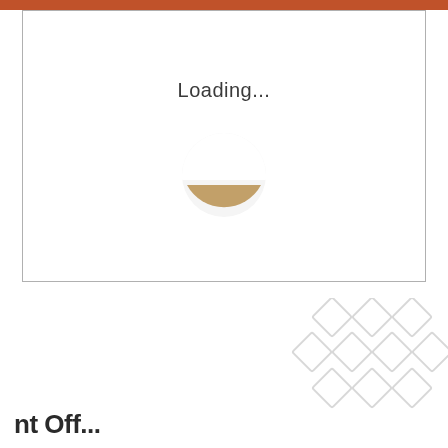[Figure (screenshot): A loading screen with a terracotta/rust colored top bar, a bordered white content area containing the text 'Loading...' in gray and a spinning circular loading indicator (circle, mostly white with a golden-brown arc at the bottom). Below the bordered area is a white background with a decorative watermark of diamond/rhombus shapes in light gray at the bottom right, and partially visible text at the bottom left that reads 'nt Off...' (likely part of 'Internet Office' or similar).]